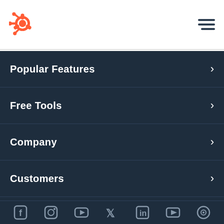[Figure (logo): HubSpot orange sprocket logo in top left of white header bar]
[Figure (other): Hamburger menu icon (three horizontal dark lines) in top right of white header bar]
Popular Features
Free Tools
Company
Customers
Partners
[Figure (other): Row of social media icons (Facebook, Instagram, YouTube, Twitter/X, LinkedIn, and more) along the bottom of the dark navy menu]